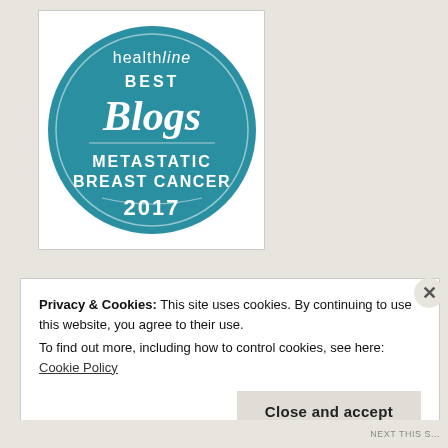[Figure (logo): Healthline Best Blogs badge for Metastatic Breast Cancer 2017. Circular teal badge with white text reading 'healthline BEST Blogs METASTATIC BREAST CANCER 2017'.]
Privacy & Cookies: This site uses cookies. By continuing to use this website, you agree to their use.
To find out more, including how to control cookies, see here: Cookie Policy
Close and accept